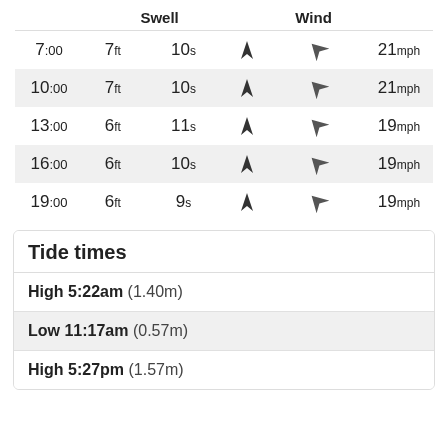|  | Swell |  |  | Wind |  |
| --- | --- | --- | --- | --- | --- |
| 7:00 | 7ft | 10s | ▲ | ↖ | 21mph |
| 10:00 | 7ft | 10s | ▲ | ↖ | 21mph |
| 13:00 | 6ft | 11s | ▲ | ↖ | 19mph |
| 16:00 | 6ft | 10s | ▲ | ↖ | 19mph |
| 19:00 | 6ft | 9s | ▲ | ↖ | 19mph |
Tide times
High 5:22am (1.40m)
Low 11:17am (0.57m)
High 5:27pm (1.57m)